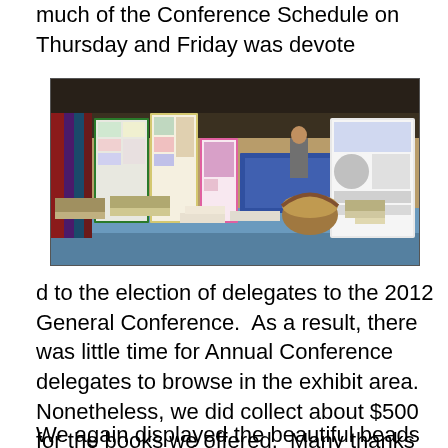much of the Conference Schedule on Thursday and Friday was devote
[Figure (photo): A conference exhibit booth with a blue tablecloth displaying books, pamphlets, a basket, and posters/display boards standing behind the table in what appears to be a conference hall.]
d to the election of delegates to the 2012 General Conference.  As a result, there was little time for Annual Conference delegates to browse in the exhibit area.  Nonetheless, we did collect about $500 for the books we offered.  Many thanks to those of you who donated your used books for this event.  We had a few boxes left over which we will likely take to sell next year.
We again displayed the beautiful beads of BeadforLife, the